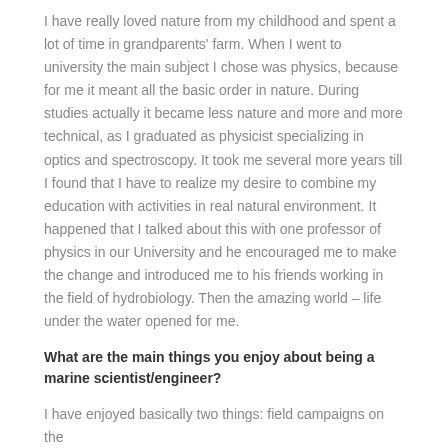I have really loved nature from my childhood and spent a lot of time in grandparents' farm. When I went to university the main subject I chose was physics, because for me it meant all the basic order in nature. During studies actually it became less nature and more and more technical, as I graduated as physicist specializing in optics and spectroscopy. It took me several more years till I found that I have to realize my desire to combine my education with activities in real natural environment. It happened that I talked about this with one professor of physics in our University and he encouraged me to make the change and introduced me to his friends working in the field of hydrobiology. Then the amazing world – life under the water opened for me.
What are the main things you enjoy about being a marine scientist/engineer?
I have enjoyed basically two things: field campaigns on the